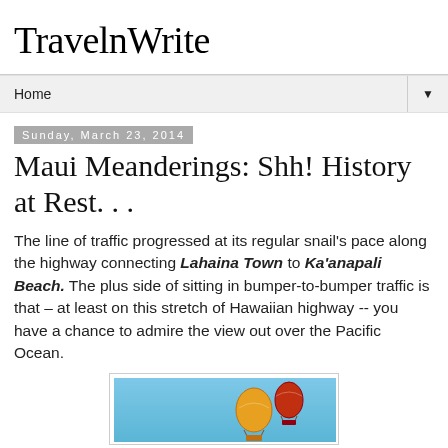TravelnWrite
Home
Sunday, March 23, 2014
Maui Meanderings: Shh! History at Rest. . .
The line of traffic progressed at its regular snail's pace along the highway connecting Lahaina Town to Ka'anapali Beach. The plus side of sitting in bumper-to-bumper traffic is that – at least on this stretch of Hawaiian highway -- you have a chance to admire the view out over the Pacific Ocean.
[Figure (photo): Photograph of colorful hot air balloons against a blue sky, partially visible at bottom of page]